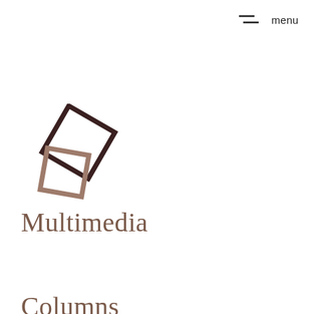menu
[Figure (logo): Two overlapping rotated squares forming a logo mark — one dark brown (chocolate) square outline rotated roughly 30 degrees, and one smaller taupe/mocha square outline overlapping below-left, also slightly rotated]
Multimedia
Columns